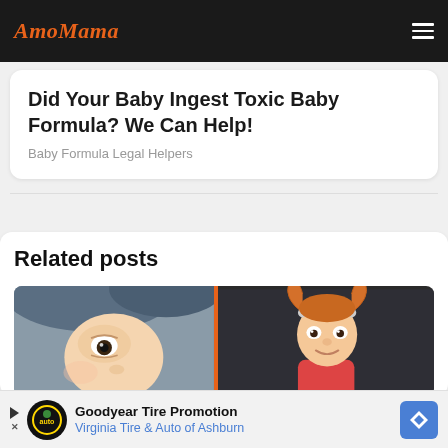AmoMama
Did Your Baby Ingest Toxic Baby Formula? We Can Help!
Baby Formula Legal Helpers
Related posts
[Figure (photo): Two side-by-side baby photos: left shows a close-up of a baby's eye and face with blue background, right shows a toddler girl with pigtails against dark background, separated by an orange vertical divider]
Goodyear Tire Promotion
Virginia Tire & Auto of Ashburn